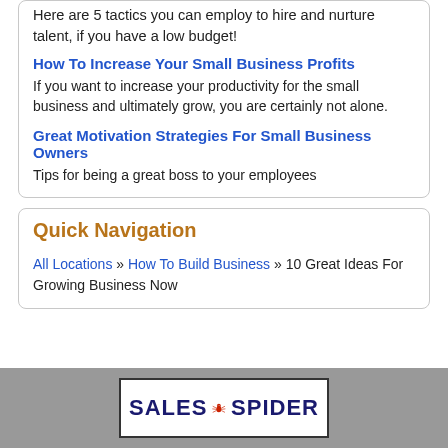Here are 5 tactics you can employ to hire and nurture talent, if you have a low budget!
How To Increase Your Small Business Profits
If you want to increase your productivity for the small business and ultimately grow, you are certainly not alone.
Great Motivation Strategies For Small Business Owners
Tips for being a great boss to your employees
Quick Navigation
All Locations » How To Build Business » 10 Great Ideas For Growing Business Now
[Figure (logo): Sales Spider logo with red spider graphic between the words SALES and SPIDER in dark blue bold text, inside a rectangular border]